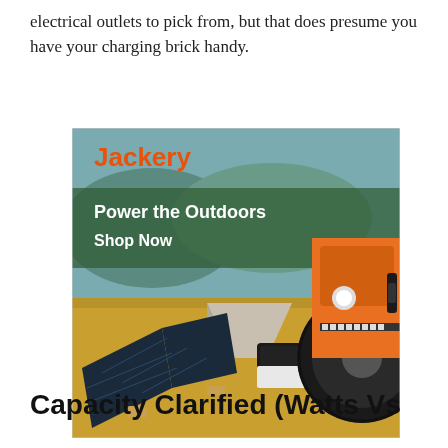electrical outlets to pick from, but that does presume you have your charging brick handy.
[Figure (photo): Jackery advertisement showing solar panels, a portable power station, and a Jeep in an outdoor setting. Text reads 'Jackery', 'Power the Outdoors', 'Shop Now'.]
Capacity Clarified (Watts Vs